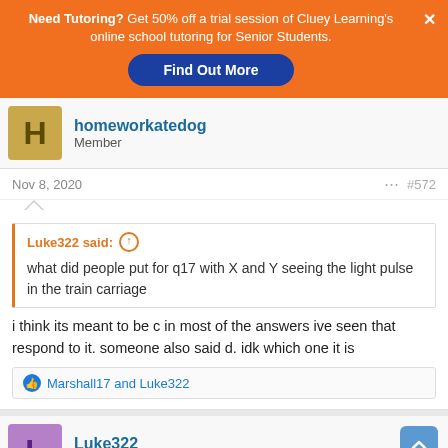[Figure (screenshot): Orange advertisement banner for Cluey Learning tutoring with Find Out More button]
homeworkatedog
Member
Nov 8, 2020	#572
Luke322 said: what did people put for q17 with X and Y seeing the light pulse in the train carriage
i think its meant to be c in most of the answers ive seen that respond to it. someone also said d. idk which one it is
Marshall17 and Luke322
Luke322
Well-Known Member